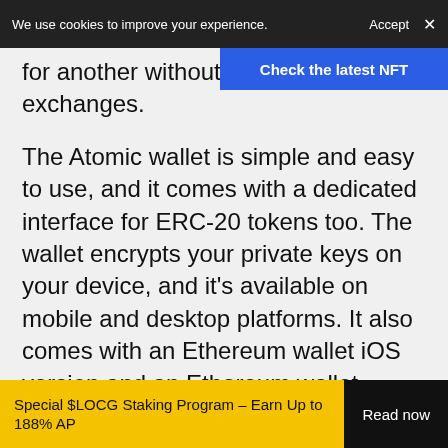We use cookies to improve your experience. Accept ×
[Figure (other): Blue NFT promotional banner with text 'Check the latest NFT']
for another without u exchanges.
The Atomic wallet is simple and easy to use, and it comes with a dedicated interface for ERC-20 tokens too. The wallet encrypts your private keys on your device, and it's available on mobile and desktop platforms. It also comes with an Ethereum wallet iOS version and an Ethereum wallet Android version.
Atomic Wallet Pros
Special $LOCG Staking Program – Earn Up to 188% AP  Read now